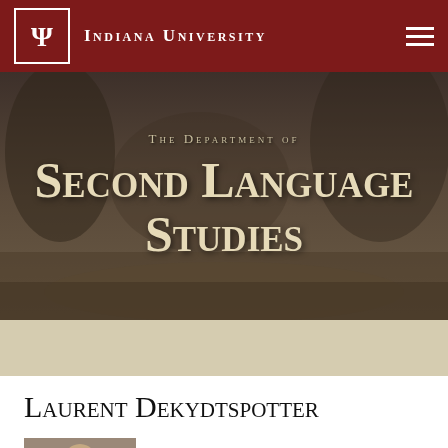Indiana University
The Department of Second Language Studies
Laurent Dekydtspotter
Professor